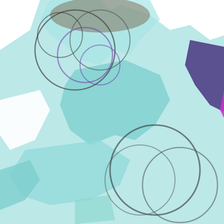[Figure (illustration): Abstract digital artwork with teal, purple, and magenta shapes resembling a map or geographic regions, overlaid with dark gray circular ring outlines, on the left side of the page.]
I finished my student-teach
More information can be fo
Non-Work Life:
When I have spare/free tim
novel in November 2014), V
family (all who can sign), ar
literature, newspapers and
[Figure (photo): A person wearing a grey/white long-sleeve shirt, standing outdoors with greenery in the background.]